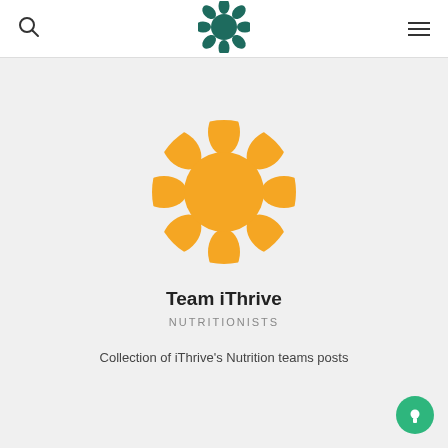[Figure (logo): iThrive green circular logo with petal shapes in the header navigation bar]
[Figure (logo): iThrive orange circular logo with petal/seed shapes - Team iThrive profile avatar]
Team iThrive
NUTRITIONISTS
Collection of iThrive's Nutrition teams posts